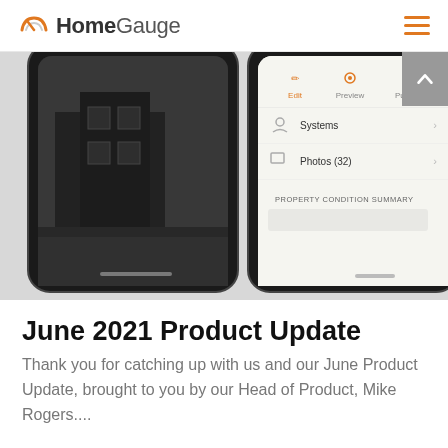HomeGauge
[Figure (screenshot): Two smartphone screens side by side. Left phone shows a black and white exterior house photo. Right phone shows the HomeGauge app interface with Edit, Preview, Publish tabs and menu items: Systems, Photos (32), and a Property Condition Summary section.]
June 2021 Product Update
Thank you for catching up with us and our June Product Update, brought to you by our Head of Product, Mike Rogers....